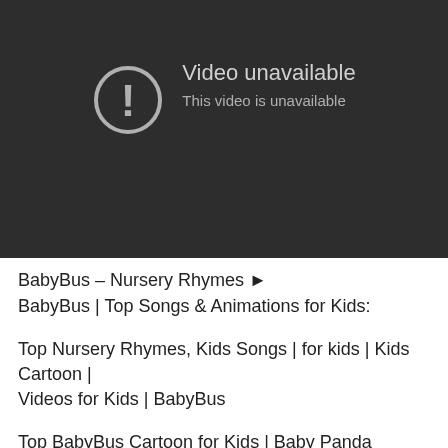[Figure (screenshot): YouTube video player showing 'Video unavailable' error screen with a dark background, a circle-exclamation icon, and text: 'Video unavailable' and 'This video is unavailable']
BabyBus – Nursery Rhymes ▶
BabyBus | Top Songs & Animations for Kids:
Top Nursery Rhymes, Kids Songs | for kids | Kids Cartoon | Videos for Kids | BabyBus
Top BabyBus Cartoon for Kids | Baby Panda Rescue